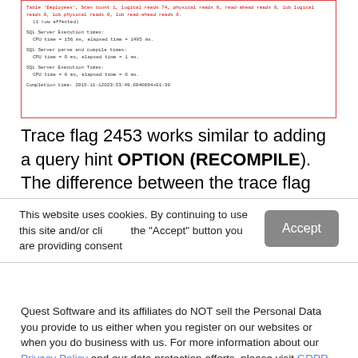[Figure (screenshot): Screenshot of SQL Server execution output with red border. Shows trace/rows/logical reads output, TPC Server Execution Times, SQL Server parse and compile times, SQL Server Execution Times, and Completion time.]
Trace flag 2453 works similar to adding a query hint OPTION (RECOMPILE). The difference between the trace flag and
This website uses cookies. By continuing to use this site and/or click the "Accept" button you are providing consent
Quest Software and its affiliates do NOT sell the Personal Data you provide to us either when you register on our websites or when you do business with us. For more information about our Privacy Policy and our data protection efforts, please visit GDPR-HQ